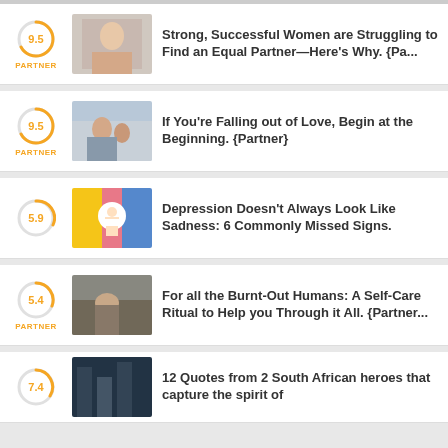Strong, Successful Women are Struggling to Find an Equal Partner—Here's Why. {Pa...
If You're Falling out of Love, Begin at the Beginning. {Partner}
Depression Doesn't Always Look Like Sadness: 6 Commonly Missed Signs.
For all the Burnt-Out Humans: A Self-Care Ritual to Help you Through it All. {Partner...
12 Quotes from 2 South African heroes that capture the spirit of